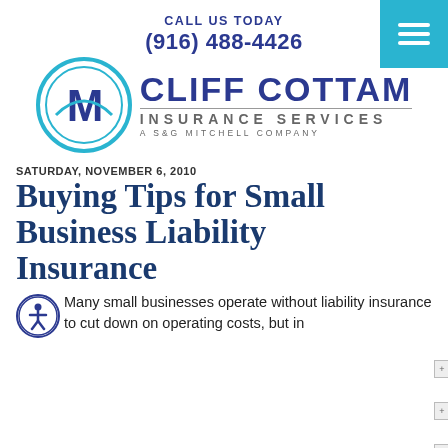CALL US TODAY
(916) 488-4426
[Figure (logo): Cliff Cottam Insurance Services logo with circular M emblem and text 'CLIFF COTTAM INSURANCE SERVICES A S&G MITCHELL COMPANY']
SATURDAY, NOVEMBER 6, 2010
Buying Tips for Small Business Liability Insurance
Many small businesses operate without liability insurance to cut down on operating costs, but in